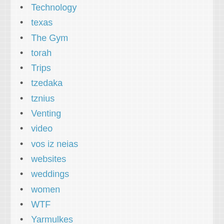Technology
texas
The Gym
torah
Trips
tzedaka
tznius
Venting
video
vos iz neias
websites
weddings
women
WTF
Yarmulkes
Yeshiva memories
yeshiva world news
yeshivish
Yichus